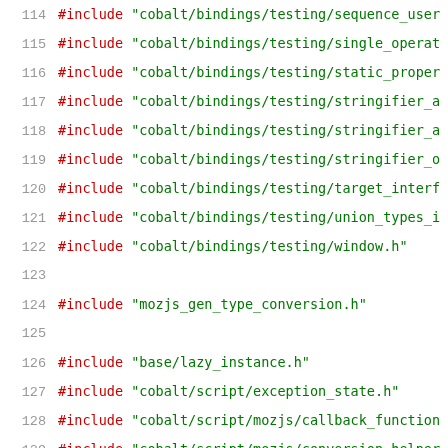Source code listing, lines 114-135, showing #include statements for cobalt/bindings/testing headers, mozjs_gen_type_conversion.h, and cobalt/script/mozjs headers.